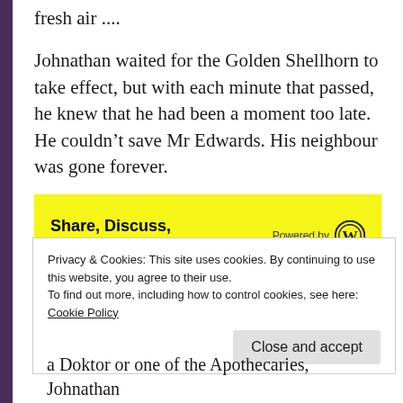fresh air ....
Johnathan waited for the Golden Shellhorn to take effect, but with each minute that passed, he knew that he had been a moment too late. He couldn't save Mr Edwards. His neighbour was gone forever.
[Figure (other): Yellow advertisement banner with bold text 'Share, Discuss, Collaborate, P2.' and 'Powered by' with WordPress logo on right]
Privacy & Cookies: This site uses cookies. By continuing to use this website, you agree to their use.
To find out more, including how to control cookies, see here:
Cookie Policy
Close and accept
a Doktor or one of the Apothecaries, Johnathan